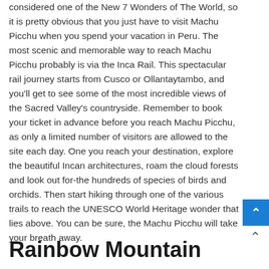considered one of the New 7 Wonders of The World, so it is pretty obvious that you just have to visit Machu Picchu when you spend your vacation in Peru. The most scenic and memorable way to reach Machu Picchu probably is via the Inca Rail. This spectacular rail journey starts from Cusco or Ollantaytambo, and you'll get to see some of the most incredible views of the Sacred Valley's countryside. Remember to book your ticket in advance before you reach Machu Picchu, as only a limited number of visitors are allowed to the site each day. One you reach your destination, explore the beautiful Incan architectures, roam the cloud forests and look out for-the hundreds of species of birds and orchids. Then start hiking through one of the various trails to reach the UNESCO World Heritage wonder that lies above. You can be sure, the Machu Picchu will take your breath away.
Rainbow Mountain